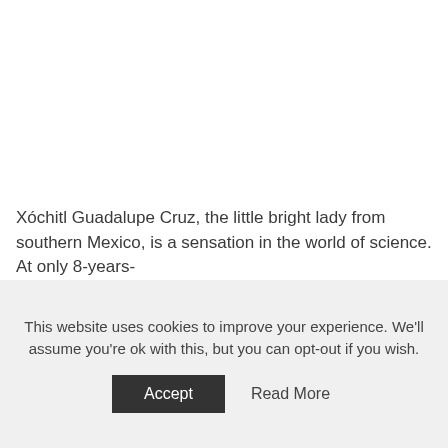Xóchitl Guadalupe Cruz, the little bright lady from southern Mexico, is a sensation in the world of science. At only 8-years-
This website uses cookies to improve your experience. We'll assume you're ok with this, but you can opt-out if you wish.